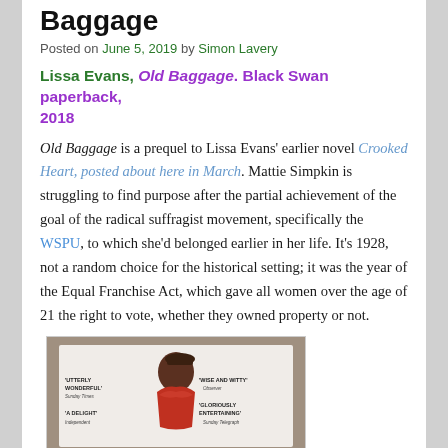Baggage
Posted on June 5, 2019 by Simon Lavery
Lissa Evans, Old Baggage. Black Swan paperback, 2018
Old Baggage is a prequel to Lissa Evans' earlier novel Crooked Heart, posted about here in March. Mattie Simpkin is struggling to find purpose after the partial achievement of the goal of the radical suffragist movement, specifically the WSPU, to which she'd belonged earlier in her life. It's 1928, not a random choice for the historical setting; it was the year of the Equal Franchise Act, which gave all women over the age of 21 the right to vote, whether they owned property or not.
[Figure (photo): Book cover of Old Baggage by Lissa Evans, Black Swan paperback edition, showing a woman in period dress with quotes from reviews including 'Utterly Wonderful' Sunday Times, 'Wise and Witty' Observer, 'A Delight' Independent, 'Gloriously Entertaining' Sunday Telegraph]